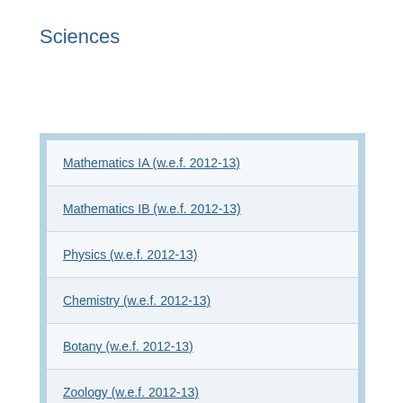Sciences
Mathematics IA (w.e.f. 2012-13)
Mathematics IB (w.e.f. 2012-13)
Physics (w.e.f. 2012-13)
Chemistry (w.e.f. 2012-13)
Botany (w.e.f. 2012-13)
Zoology (w.e.f. 2012-13)